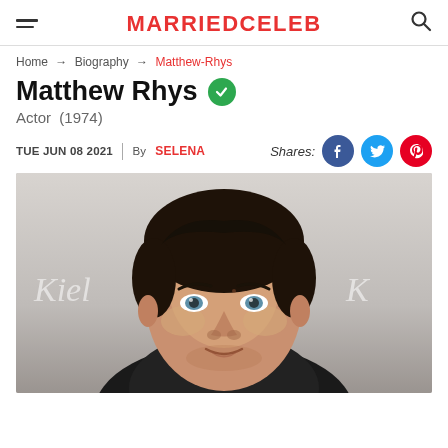MARRIEDCELEB
Home → Biography → Matthew-Rhys
Matthew Rhys
Actor (1974)
TUE JUN 08 2021  |  By SELENA
[Figure (photo): Headshot of Matthew Rhys smiling, with dark curly hair and blue eyes, wearing a dark jacket, at an event with Kiehl's branding in background]